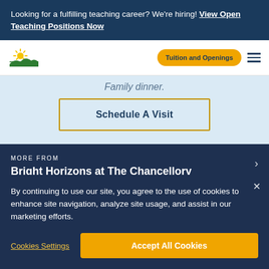Looking for a fulfilling teaching career? We're hiring! View Open Teaching Positions Now
[Figure (logo): Bright Horizons sunrise logo — yellow sun with rays over green hills]
Tuition and Openings
Family dinner.
Schedule A Visit
MORE FROM
Bright Horizons at The Chancellory
By continuing to use our site, you agree to the use of cookies to enhance site navigation, analyze site usage, and assist in our marketing efforts.
Cookies Settings
Accept All Cookies